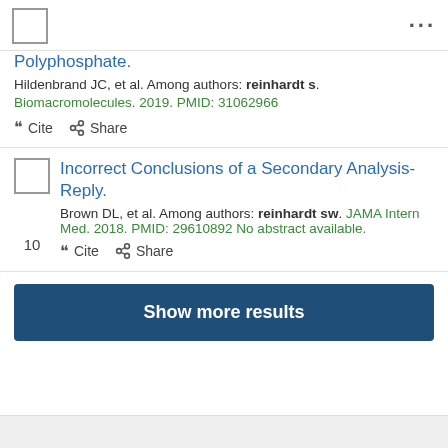...
Polyphosphate.
Hildenbrand JC, et al. Among authors: reinhardt s.
Biomacromolecules. 2019. PMID: 31062966
Cite  Share
10  Incorrect Conclusions of a Secondary Analysis-Reply.
Brown DL, et al. Among authors: reinhardt sw. JAMA Intern Med. 2018. PMID: 29610892 No abstract available.
Cite  Share
Show more results